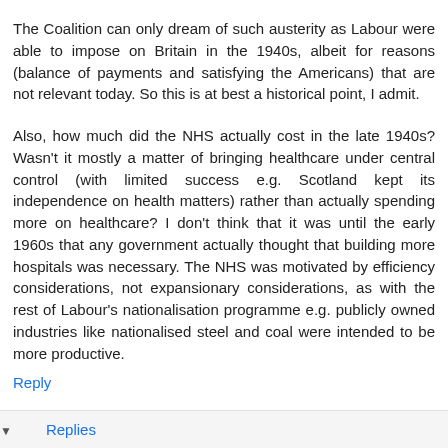The Coalition can only dream of such austerity as Labour were able to impose on Britain in the 1940s, albeit for reasons (balance of payments and satisfying the Americans) that are not relevant today. So this is at best a historical point, I admit.
Also, how much did the NHS actually cost in the late 1940s? Wasn't it mostly a matter of bringing healthcare under central control (with limited success e.g. Scotland kept its independence on health matters) rather than actually spending more on healthcare? I don't think that it was until the early 1960s that any government actually thought that building more hospitals was necessary. The NHS was motivated by efficiency considerations, not expansionary considerations, as with the rest of Labour's nationalisation programme e.g. publicly owned industries like nationalised steel and coal were intended to be more productive.
Reply
Replies